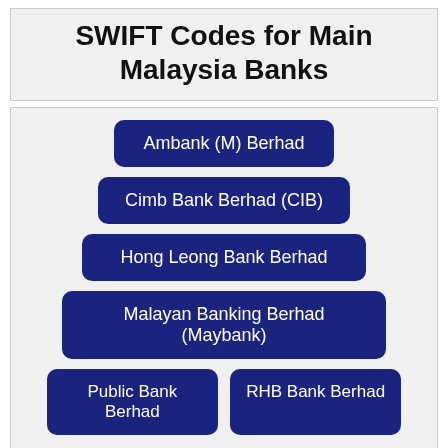SWIFT Codes for Main Malaysia Banks
Ambank (M) Berhad
Cimb Bank Berhad (CIB)
Hong Leong Bank Berhad
Malayan Banking Berhad (Maybank)
Public Bank Berhad
RHB Bank Berhad
Find SWIFT Code